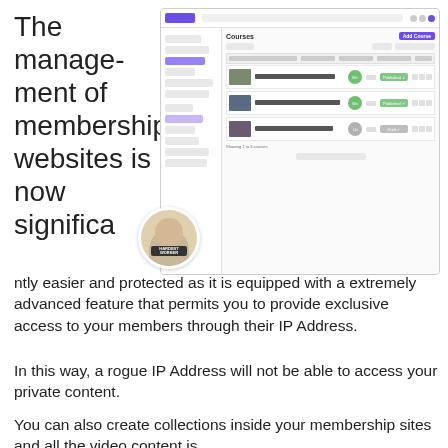The management of membership websites is now significantly easier and protected as it is equipped with a extremely advanced feature that permits you to provide exclusive access to your members through their IP Address.
[Figure (screenshot): Screenshot of a course management dashboard UI showing a Courses page with a list of courses including 'Mastering The Facebook Pixel', 'Training your subconscious - Part 1', and 'Training your subconscious - Part 2', with Published and Draft status badges, accompanied by a circular avatar photo of a person wearing a shirt with 'HARDEST' text.]
In this way, a rogue IP Address will not be able to access your private content.
You can also create collections inside your membership sites and all the video content is